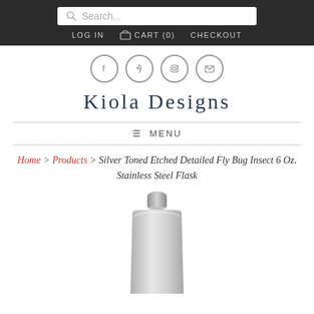Search... | LOG IN   CART (0)   CHECKOUT
[Figure (logo): Social media icons: Facebook, Pinterest, Instagram, Email in circular outlines]
Kiola Designs
≡ MENU
Home > Products > Silver Toned Etched Detailed Fly Bug Insect 6 Oz. Stainless Steel Flask
[Figure (photo): Stainless steel hip flask, silver colored, shown from front angle with cap visible at top]